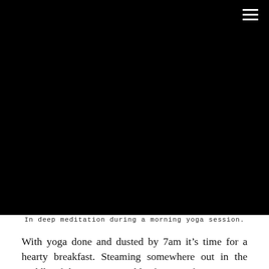[Figure (photo): Large black photograph area filling the space below the header, depicting a person in deep meditation during a morning yoga session.]
In deep meditation during a morning yoga session.
With yoga done and dusted by 7am it’s time for a hearty breakfast. Steaming somewhere out in the middle of the ocean, you’d be forgiven for expecting little more than